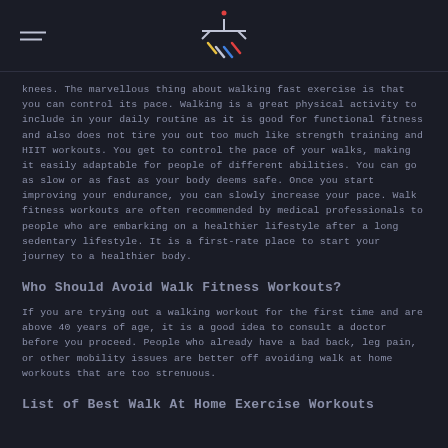[hamburger menu icon] [logo icon]
knees. The marvellous thing about walking fast exercise is that you can control its pace. Walking is a great physical activity to include in your daily routine as it is good for functional fitness and also does not tire you out too much like strength training and HIIT workouts. You get to control the pace of your walks, making it easily adaptable for people of different abilities. You can go as slow or as fast as your body deems safe. Once you start improving your endurance, you can slowly increase your pace. Walk fitness workouts are often recommended by medical professionals to people who are embarking on a healthier lifestyle after a long sedentary lifestyle. It is a first-rate place to start your journey to a healthier body.
Who Should Avoid Walk Fitness Workouts?
If you are trying out a walking workout for the first time and are above 40 years of age, it is a good idea to consult a doctor before you proceed. People who already have a bad back, leg pain, or other mobility issues are better off avoiding walk at home workouts that are too strenuous.
List of Best Walk At Home Exercise Workouts